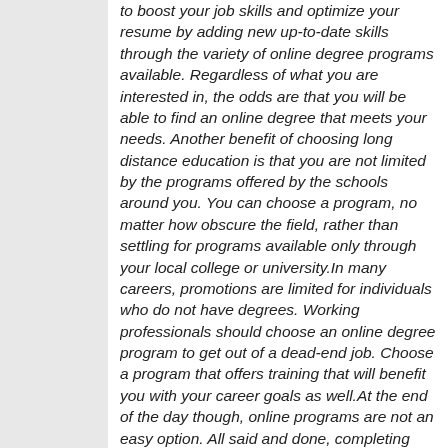to boost your job skills and optimize your resume by adding new up-to-date skills through the variety of online degree programs available. Regardless of what you are interested in, the odds are that you will be able to find an online degree that meets your needs. Another benefit of choosing long distance education is that you are not limited by the programs offered by the schools around you. You can choose a program, no matter how obscure the field, rather than settling for programs available only through your local college or university.In many careers, promotions are limited for individuals who do not have degrees. Working professionals should choose an online degree program to get out of a dead-end job. Choose a program that offers training that will benefit you with your career goals as well.At the end of the day though, online programs are not an easy option. All said and done, completing